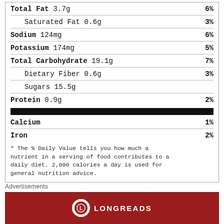| Nutrient | % Daily Value |
| --- | --- |
| Total Fat 3.7g | 6% |
| Saturated Fat 0.6g | 3% |
| Sodium 124mg | 6% |
| Potassium 174mg | 5% |
| Total Carbohydrate 19.1g | 7% |
| Dietary Fiber 0.6g | 3% |
| Sugars 15.5g |  |
| Protein 0.9g | 2% |
| Calcium | 1% |
| Iron | 2% |
* The % Daily Value tells you how much a nutrient in a serving of food contributes to a daily diet. 2,000 calories a day is used for general nutrition advice.
Advertisements
[Figure (logo): Longreads red banner with circular logo and site name LONGREADS]